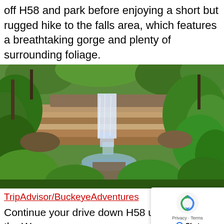off H58 and park before enjoying a short but rugged hike to the falls area, which features a breathtaking gorge and plenty of surrounding foliage.
[Figure (photo): A waterfall cascading over layered rock ledges surrounded by lush green foliage and trees in a forested gorge]
TripAdvisor/BuckeyeAdventures
Continue your drive down H58 until you reach the Was